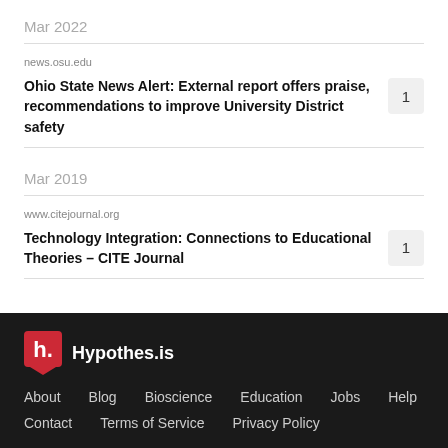Mar 2022
news.osu.edu
Ohio State News Alert: External report offers praise, recommendations to improve University District safety
Mar 2019
www.citejournal.org
Technology Integration: Connections to Educational Theories – CITE Journal
Hypothes.is | About | Blog | Bioscience | Education | Jobs | Help | Contact | Terms of Service | Privacy Policy